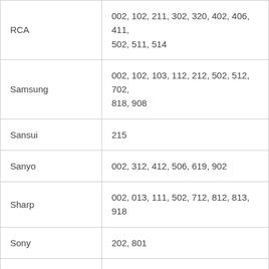| Brand | Codes |
| --- | --- |
| RCA | 002, 102, 211, 302, 320, 402, 406, 411, 502, 511, 514 |
| Samsung | 002, 102, 103, 112, 212, 502, 512, 702, 818, 908 |
| Sansui | 215 |
| Sanyo | 002, 312, 412, 506, 619, 902 |
| Sharp | 002, 013, 111, 502, 712, 812, 813, 918 |
| Sony | 202, 801 |
| Sylvanie | 002, 009, 109, 117, 209, 309, 402, 408, 502, 508, 717 |
| Symphonic | 117, 520, 904, 906 |